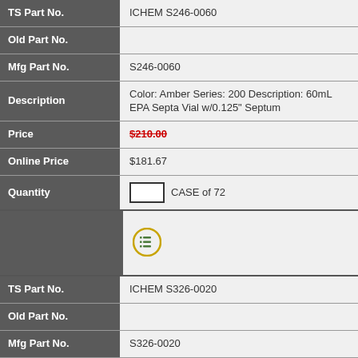| Field | Value |
| --- | --- |
| TS Part No. | ICHEM S246-0060 |
| Old Part No. |  |
| Mfg Part No. | S246-0060 |
| Description | Color: Amber Series: 200 Description: 60mL EPA Septa Vial w/0.125" Septum |
| Price | $210.00 (strikethrough) |
| Online Price | $181.67 |
| Quantity | CASE of 72 |
[Figure (other): List/detail icon - circular icon with green list lines on gold/yellow circle]
| Field | Value |
| --- | --- |
| TS Part No. | ICHEM S326-0020 |
| Old Part No. |  |
| Mfg Part No. | S326-0020 |
| Description | Color: Clear Series: 300 Description: 20mL EPA Septa Vial w/0.125" Septum |
| Price | $199.00 (strikethrough) |
| Online Price | $165.83 |